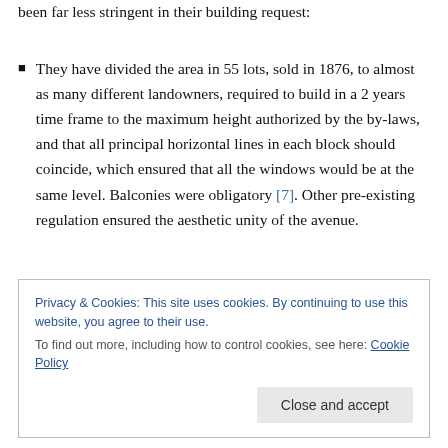been far less stringent in their building request:
They have divided the area in 55 lots, sold in 1876, to almost as many different landowners, required to build in a 2 years time frame to the maximum height authorized by the by-laws, and that all principal horizontal lines in each block should coincide, which ensured that all the windows would be at the same level. Balconies were obligatory [7]. Other pre-existing regulation ensured the aesthetic unity of the avenue.
Privacy & Cookies: This site uses cookies. By continuing to use this website, you agree to their use. To find out more, including how to control cookies, see here: Cookie Policy
Close and accept